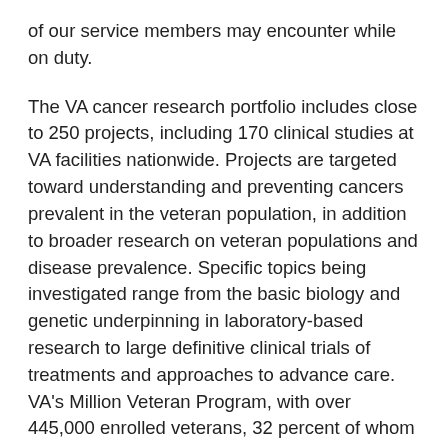of our service members may encounter while on duty.
The VA cancer research portfolio includes close to 250 projects, including 170 clinical studies at VA facilities nationwide. Projects are targeted toward understanding and preventing cancers prevalent in the veteran population, in addition to broader research on veteran populations and disease prevalence. Specific topics being investigated range from the basic biology and genetic underpinning in laboratory-based research to large definitive clinical trials of treatments and approaches to advance care. VA's Million Veteran Program, with over 445,000 enrolled veterans, 32 percent of whom have reported a cancer diagnosis, provides a potentially rich clinical database for genetic exploration and analyses. This resource will be valuable in investigating genetic contributions to specific cancers and gene targets for potential new treatments. VA's National Radiation Oncology Program (NROP) is conducting multiple initiatives in cancer research, and its Precision Oncology